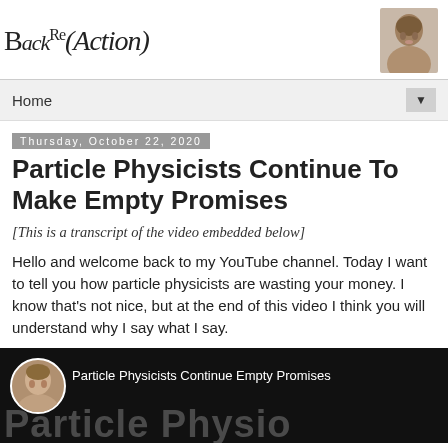BackRe(Action)
Home
Thursday, October 22, 2020
Particle Physicists Continue To Make Empty Promises
[This is a transcript of the video embedded below]
Hello and welcome back to my YouTube channel. Today I want to tell you how particle physicists are wasting your money. I know that's not nice, but at the end of this video I think you will understand why I say what I say.
[Figure (screenshot): Video thumbnail showing 'Particle Physicists Continue Empty Promises' with large bold text 'Particle Physio' and a circular avatar photo of the author on the left.]